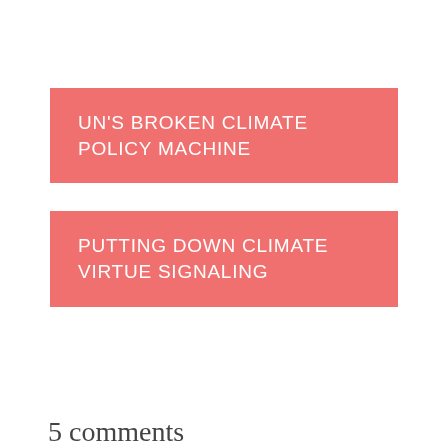UN'S BROKEN CLIMATE POLICY MACHINE
PUTTING DOWN CLIMATE VIRTUE SIGNALING
5 comments